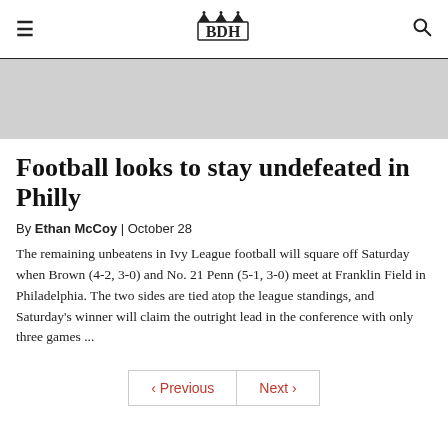BDH
[Figure (photo): Gray placeholder hero image banner]
Football looks to stay undefeated in Philly
By Ethan McCoy | October 28
The remaining unbeatens in Ivy League football will square off Saturday when Brown (4-2, 3-0) and No. 21 Penn (5-1, 3-0) meet at Franklin Field in Philadelphia. The two sides are tied atop the league standings, and Saturday's winner will claim the outright lead in the conference with only three games ...